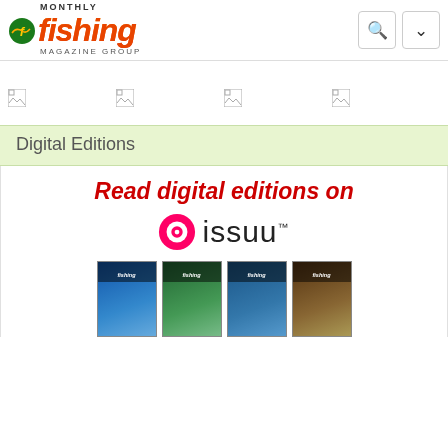[Figure (logo): Fishing Monthly Magazine Group logo with fish icon and colorful text]
[Figure (screenshot): Four broken image icons in a row, representing navigation/advertisement images that failed to load]
Digital Editions
Read digital editions on
[Figure (logo): Issuu logo - orange circle target icon with 'issuu' text and trademark symbol]
[Figure (photo): Four Fishing Monthly magazine covers showing anglers with fish catches]